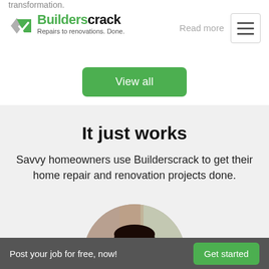transformation.
[Figure (logo): Builderscrack logo with green checkmark and text 'Repairs to renovations. Done.']
Read more
View all
It just works
Savvy homeowners use Builderscrack to get their home repair and renovation projects done.
[Figure (photo): Circular cropped photo of a smiling woman with dark hair]
Post your job for free, now!
Get started